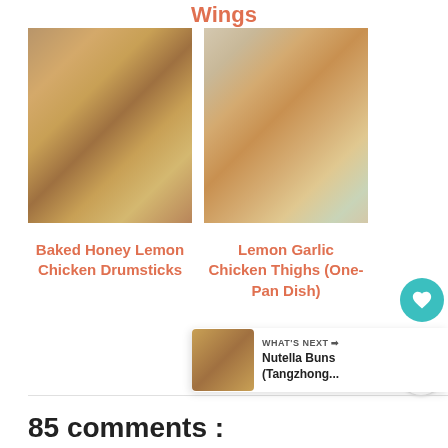Wings
[Figure (photo): Baked honey lemon chicken drumsticks in a white baking dish on a woven mat with caramelized lemon slices]
[Figure (photo): Lemon garlic chicken thighs in a cast iron skillet with lemon slices and rosemary]
Baked Honey Lemon Chicken Drumsticks
Lemon Garlic Chicken Thighs (One-Pan Dish)
15
WHAT'S NEXT → Nutella Buns (Tangzhong...
85 comments :